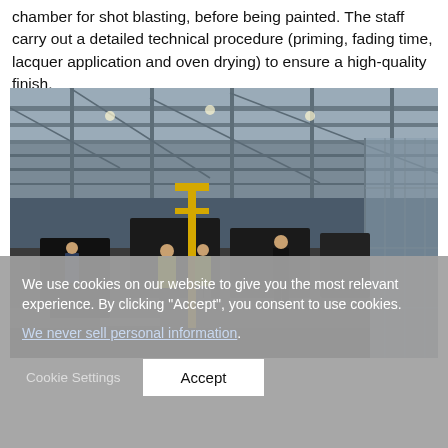chamber for shot blasting, before being painted. The staff carry out a detailed technical procedure (priming, fading time, lacquer application and oven drying) to ensure a high-quality finish.
[Figure (photo): Interior of a large industrial factory/assembly hall showing workers in high-visibility vests working on heavy machinery (tractors/vehicles) on an assembly line, with steel roof structure and large windows visible overhead.]
We use cookies on our website to give you the most relevant experience. By clicking “Accept”, you consent to use cookies. We never sell personal information.